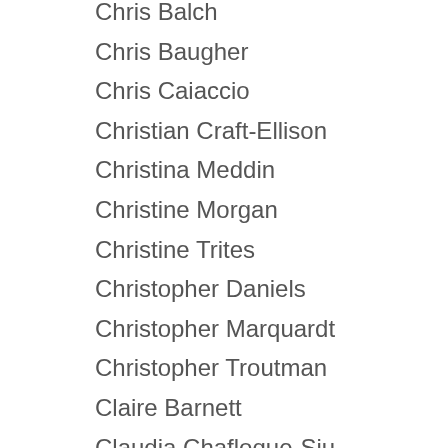Chris Balch
Chris Baugher
Chris Caiaccio
Christian Craft-Ellison
Christina Meddin
Christine Morgan
Christine Trites
Christopher Daniels
Christopher Marquardt
Christopher Troutman
Claire Barnett
Claudia Chafloque-Siu
Clay Walts
Cody Mathis
Collin Webb
Corey Cutter
Corey Goerdt
Cody Mort...